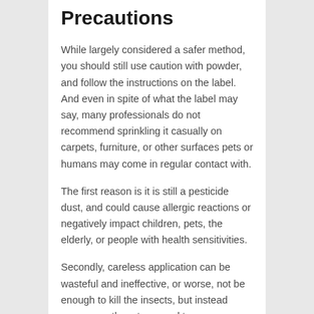Precautions
While largely considered a safer method, you should still use caution with powder, and follow the instructions on the label. And even in spite of what the label may say, many professionals do not recommend sprinkling it casually on carpets, furniture, or other surfaces pets or humans may come in regular contact with.
The first reason is it is still a pesticide dust, and could cause allergic reactions or negatively impact children, pets, the elderly, or people with health sensitivities.
Secondly, careless application can be wasteful and ineffective, or worse, not be enough to kill the insects, but instead encourage them to spread to a new area of your home.
It's also worth noting that dust can stain surfaces